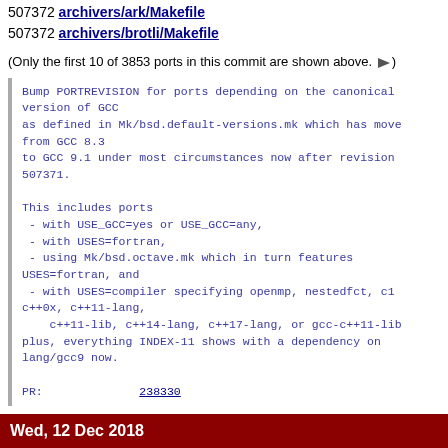507372 archivers/ark/Makefile
507372 archivers/brotli/Makefile
(Only the first 10 of 3853 ports in this commit are shown above. ▶)
Bump PORTREVISION for ports depending on the canonical version of GCC
as defined in Mk/bsd.default-versions.mk which has moved from GCC 8.3
to GCC 9.1 under most circumstances now after revision
507371.

This includes ports
 - with USE_GCC=yes or USE_GCC=any,
 - with USES=fortran,
 - using Mk/bsd.octave.mk which in turn features USES=fortran, and
 - with USES=compiler specifying openmp, nestedfct, c11, c++0x, c++11-lang,
    c++11-lib, c++14-lang, c++17-lang, or gcc-c++11-lib,
plus, everything INDEX-11 shows with a dependency on
lang/gcc9 now.

PR:              238330
Wed, 12 Dec 2018
[ 01:35 gerald ] [icons]